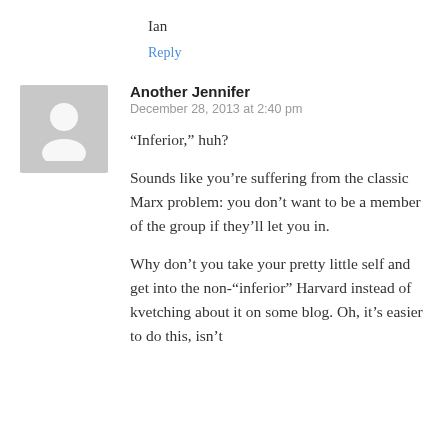Ian
Reply
[Figure (illustration): Generic grey silhouette avatar icon for a commenter]
Another Jennifer
December 28, 2013 at 2:40 pm
“Inferior,” huh?

Sounds like you’re suffering from the classic Marx problem: you don’t want to be a member of the group if they’ll let you in.

Why don’t you take your pretty little self and get into the non-“inferior” Harvard instead of kvetching about it on some blog. Oh, it’s easier to do this, isn’t